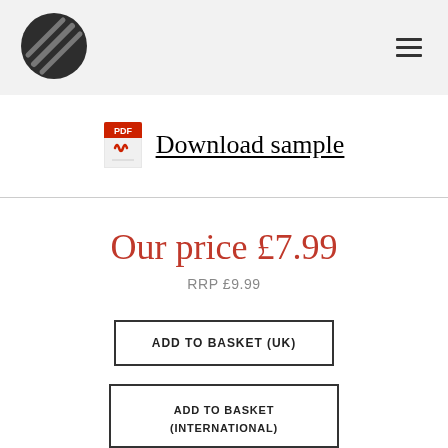[Figure (logo): Circular black logo with diagonal stripe lines, website logo]
≡ (hamburger menu icon)
Download sample
Our price £7.99
RRP £9.99
ADD TO BASKET (UK)
ADD TO BASKET (INTERNATIONAL)